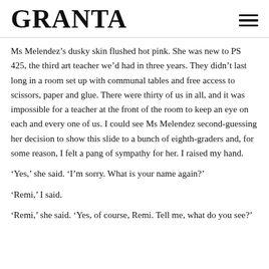GRANTA
Ms Melendez’s dusky skin flushed hot pink. She was new to PS 425, the third art teacher we’d had in three years. They didn’t last long in a room set up with communal tables and free access to scissors, paper and glue. There were thirty of us in all, and it was impossible for a teacher at the front of the room to keep an eye on each and every one of us. I could see Ms Melendez second-guessing her decision to show this slide to a bunch of eighth-graders and, for some reason, I felt a pang of sympathy for her. I raised my hand.
‘Yes,’ she said. ‘I’m sorry. What is your name again?’
‘Remi,’ I said.
‘Remi,’ she said. ‘Yes, of course, Remi. Tell me, what do you see?’